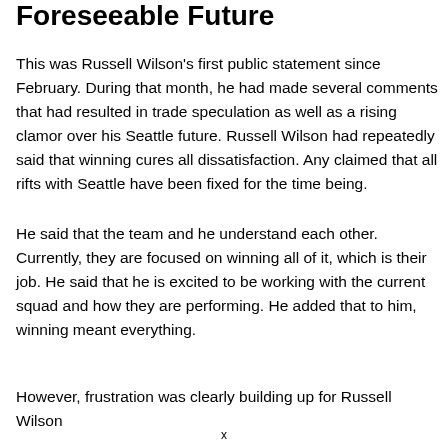Foreseeable Future
This was Russell Wilson's first public statement since February. During that month, he had made several comments that had resulted in trade speculation as well as a rising clamor over his Seattle future. Russell Wilson had repeatedly said that winning cures all dissatisfaction. Any claimed that all rifts with Seattle have been fixed for the time being.
He said that the team and he understand each other. Currently, they are focused on winning all of it, which is their job. He said that he is excited to be working with the current squad and how they are performing. He added that to him, winning meant everything.
However, frustration was clearly building up for Russell Wilson
x